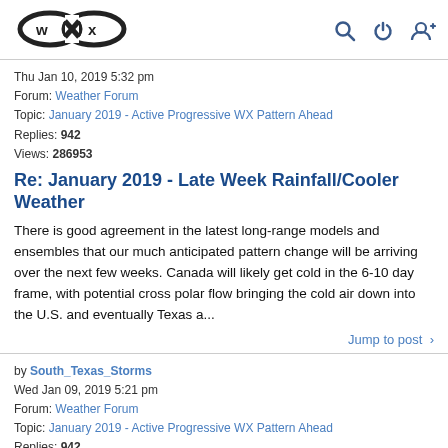[Figure (logo): WX infinity loop logo with 'w' and 'x' inside an infinity symbol]
Thu Jan 10, 2019 5:32 pm
Forum: Weather Forum
Topic: January 2019 - Active Progressive WX Pattern Ahead
Replies: 942
Views: 286953
Re: January 2019 - Late Week Rainfall/Cooler Weather
There is good agreement in the latest long-range models and ensembles that our much anticipated pattern change will be arriving over the next few weeks. Canada will likely get cold in the 6-10 day frame, with potential cross polar flow bringing the cold air down into the U.S. and eventually Texas a...
Jump to post >
by South_Texas_Storms
Wed Jan 09, 2019 5:21 pm
Forum: Weather Forum
Topic: January 2019 - Active Progressive WX Pattern Ahead
Replies: 942
Views: 286953
Re: January 2019 - Late Week Rainfall/Cooler Weather
There is good agreement in the latest long-range models and ensembles that our much anticipated pattern change will be arriving over the next few weeks. Canada will likely get cold in the 6-10 day frame, with potential cross polar flow bringing the cold air down into